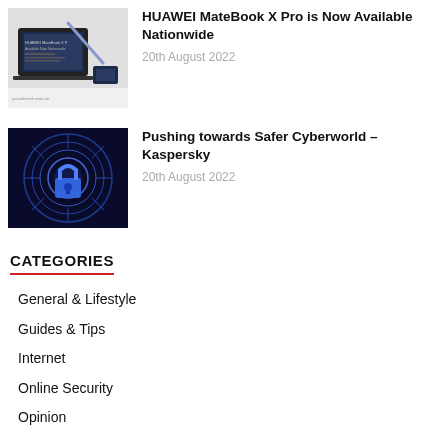[Figure (photo): Thumbnail image of HUAWEI MateBook X Pro laptop]
HUAWEI MateBook X Pro is Now Available Nationwide
20th August 2022
[Figure (photo): Thumbnail image of cyber security lock on digital circuit background - Kaspersky article]
Pushing towards Safer Cyberworld – Kaspersky
20th August 2022
CATEGORIES
General & Lifestyle
Guides & Tips
Internet
Online Security
Opinion